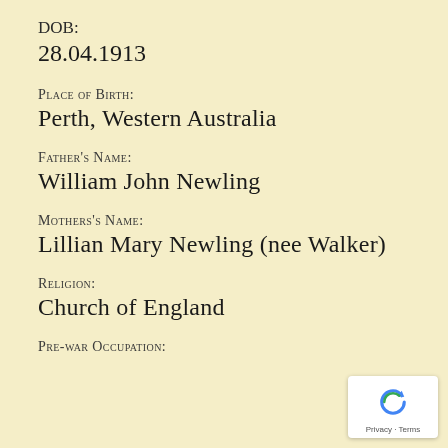DOB:
28.04.1913
Place of Birth:
Perth, Western Australia
Father's Name:
William John Newling
Mothers's Name:
Lillian Mary Newling (nee Walker)
Religion:
Church of England
Pre-war Occupation: